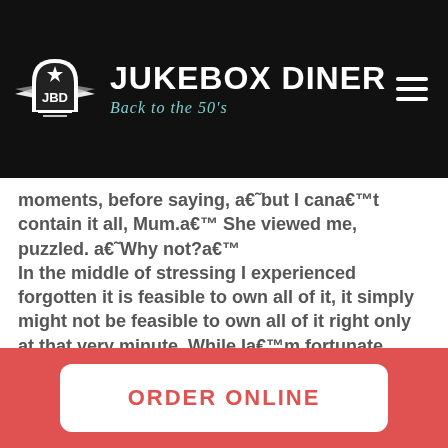Jukebox Diner – Back to the 50's
moments, before saying, a€˜but I cana€™t contain it all, Mum.a€™ She viewed me, puzzled. a€˜Why not?a€™ In the middle of stressing I experienced forgotten it is feasible to own all of it, it simply might not be feasible to own all of it right only at that very minute. While Ia€™m fortunate enough become element of a generation that basically will make its fantasies become a reality, the drawback of the is this insatiable
ORDER ONLINE